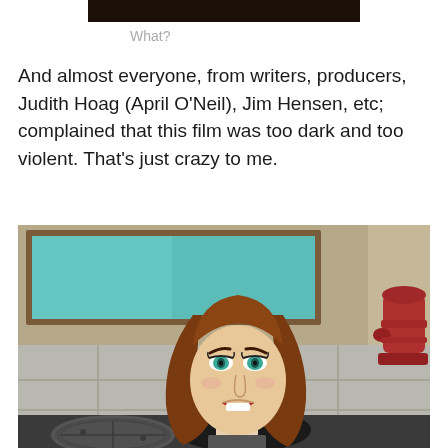[Figure (photo): Top strip showing a cropped dark image, partially visible at top of page]
What?
And almost everyone, from writers, producers, Judith Hoag (April O'Neil), Jim Hensen, etc; complained that this film was too dark and too violent. That's just crazy to me.
[Figure (illustration): Cartoon illustration of a woman with long brown hair and teal eyes emerging from a manhole in the street. Behind her is a building wall with a large teal window and a red fire hydrant to the right.]